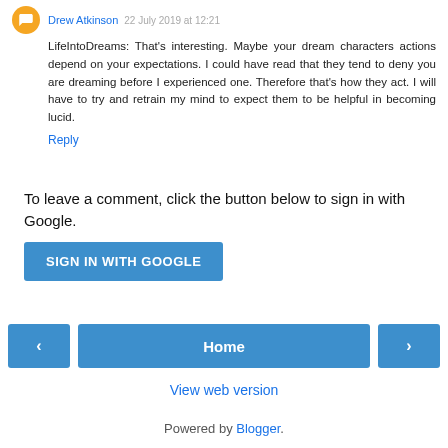LifeIntoDreams: That's interesting. Maybe your dream characters actions depend on your expectations. I could have read that they tend to deny you are dreaming before I experienced one. Therefore that's how they act. I will have to try and retrain my mind to expect them to be helpful in becoming lucid.
Reply
To leave a comment, click the button below to sign in with Google.
SIGN IN WITH GOOGLE
Home
View web version
Powered by Blogger.